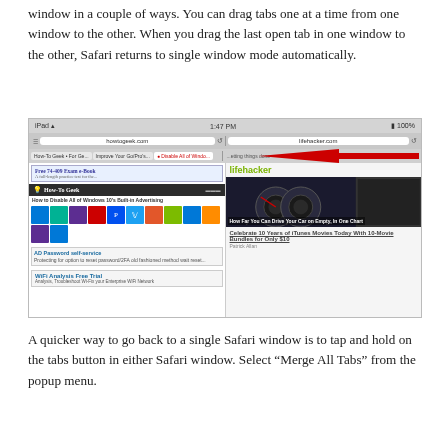window in a couple of ways. You can drag tabs one at a time from one window to the other. When you drag the last open tab in one window to the other, Safari returns to single window mode automatically.
[Figure (screenshot): iPad screenshot showing split Safari windows with howtogeek.com on the left and lifehacker.com on the right. A red arrow points to the tab bar area near the top center, highlighting a tab labeled 'Disable All of Windo...']
A quicker way to go back to a single Safari window is to tap and hold on the tabs button in either Safari window. Select “Merge All Tabs” from the popup menu.